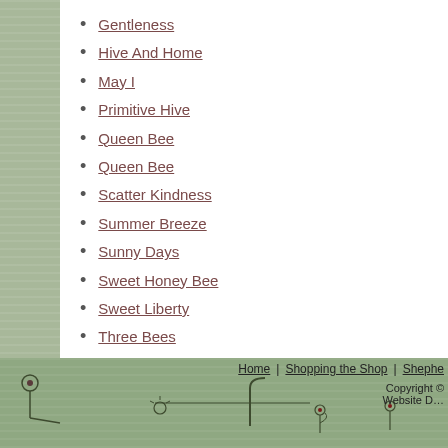Gentleness
Hive And Home
May I
Primitive Hive
Queen Bee
Queen Bee
Scatter Kindness
Summer Breeze
Sunny Days
Sweet Honey Bee
Sweet Liberty
Three Bees
Home | Shopping the Shop | Shephe… Copyright © Website D…